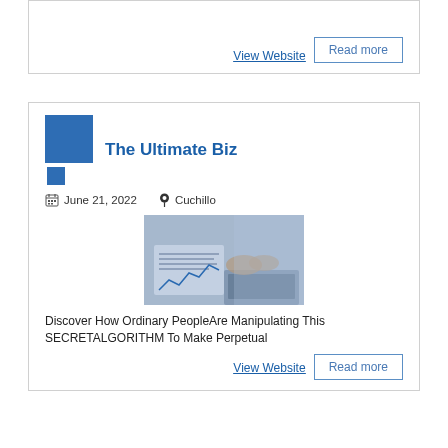View Website   Read more
The Ultimate Biz
June 21, 2022   Cuchillo
[Figure (photo): Business people working with charts and graphs on documents, hands visible typing on laptop]
Discover How Ordinary PeopleAre Manipulating This SECRETALGORITHM To Make Perpetual
View Website   Read more